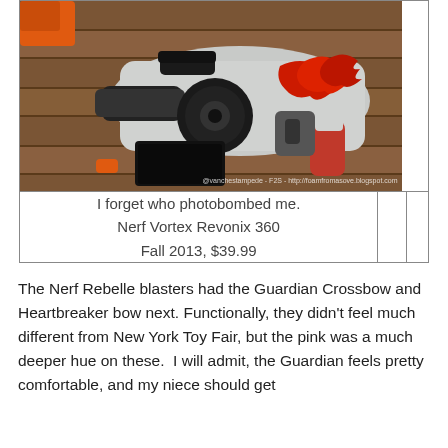[Figure (photo): Nerf Vortex Revonix 360 blaster with white body and red flame graphics, displayed against a wooden pallet background. Watermark text reads '@vanchestampede - F2S - http://foamfromasove.blogspot.com']
I forget who photobombed me.
Nerf Vortex Revonix 360
Fall 2013, $39.99
The Nerf Rebelle blasters had the Guardian Crossbow and Heartbreaker bow next. Functionally, they didn't feel much different from New York Toy Fair, but the pink was a much deeper hue on these.  I will admit, the Guardian feels pretty comfortable, and my niece should get